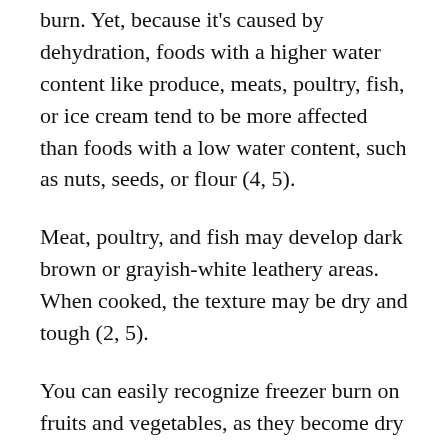burn. Yet, because it's caused by dehydration, foods with a higher water content like produce, meats, poultry, fish, or ice cream tend to be more affected than foods with a low water content, such as nuts, seeds, or flour (4, 5).
Meat, poultry, and fish may develop dark brown or grayish-white leathery areas. When cooked, the texture may be dry and tough (2, 5).
You can easily recognize freezer burn on fruits and vegetables, as they become dry and shriveled. They might also be covered in ice crystals because of their high water content, and if you cook them, they'll likely have a woody texture (5).
Starchy foods like cooked grains, rice, or pasta, as well as baked goods like bread or cake, will develop a rougher texture. Meanwhile, grains may be coated with ice crystals, and baked goods will be dry and